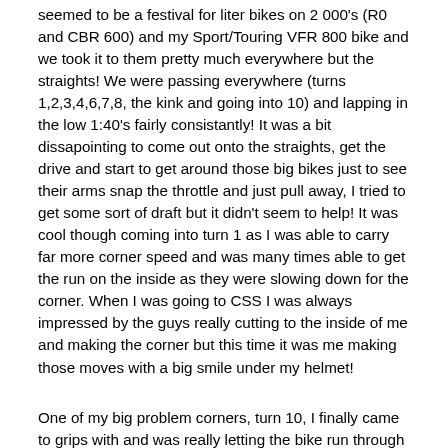seemed to be a festival for liter bikes on 2 000's (R0 and CBR 600) and my Sport/Touring VFR 800 bike and we took it to them pretty much everywhere but the straights! We were passing everywhere (turns 1,2,3,4,6,7,8, the kink and going into 10) and lapping in the low 1:40's fairly consistantly! It was a bit dissapointing to come out onto the straights, get the drive and start to get around those big bikes just to see their arms snap the throttle and just pull away, I tried to get some sort of draft but it didn't seem to help! It was cool though coming into turn 1 as I was able to carry far more corner speed and was many times able to get the run on the inside as they were slowing down for the corner. When I was going to CSS I was always impressed by the guys really cutting to the inside of me and making the corner but this time it was me making those moves with a big smile under my helmet!
One of my big problem corners, turn 10, I finally came to grips with and was really letting the bike run through the corner and unlike at CSS I was actually carrying a lot more entry speed into it and really getting back on the gas towards towards turn 11! The level III video really did wonders for me in that I could see exactly